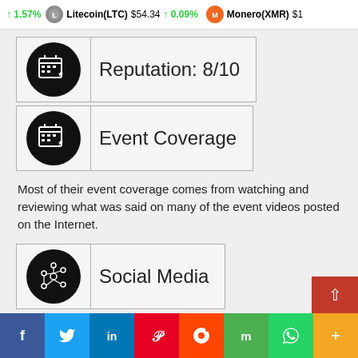↑ 1.57%   Litecoin(LTC) $54.34 ↑ 0.09%   Monero(XMR) $1...
| [calendar-star icon] | Reputation: 8/10 |
| [calendar-star icon] | Event Coverage |
Most of their event coverage comes from watching and reviewing what was said on many of the event videos posted on the Internet.
| [social-network icon] | Social Media |
Twitter and telegram seem to be their most active channels for content syndication
f  Twitter  in  Pinterest  Reddit  Mix  WhatsApp  +